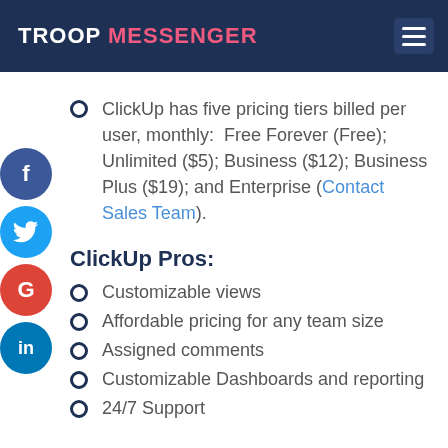TROOP MESSENGER
ClickUp has five pricing tiers billed per user, monthly:  Free Forever (Free); Unlimited ($5); Business ($12); Business Plus ($19); and Enterprise (Contact Sales Team).
ClickUp Pros:
Customizable views
Affordable pricing for any team size
Assigned comments
Customizable Dashboards and reporting
24/7 Support